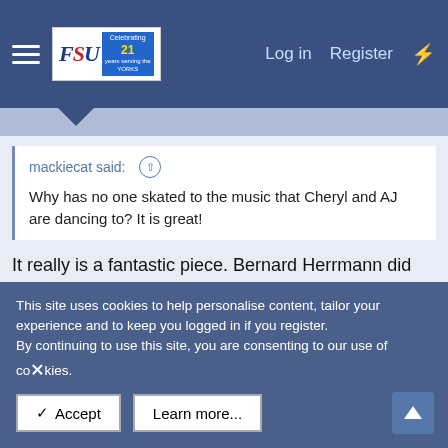FSU | Log in | Register
mackiecat said: Why has no one skated to the music that Cheryl and AJ are dancing to? It is great!
It really is a fantastic piece. Bernard Herrmann did some amazing work setting the scene for Hitchcock movies.
On a different note, I didn't quite get Nurse Ratched from Monica's 'Fever'...
This site uses cookies to help personalise content, tailor your experience and to keep you logged in if you register. By continuing to use this site, you are consenting to our use of cookies.